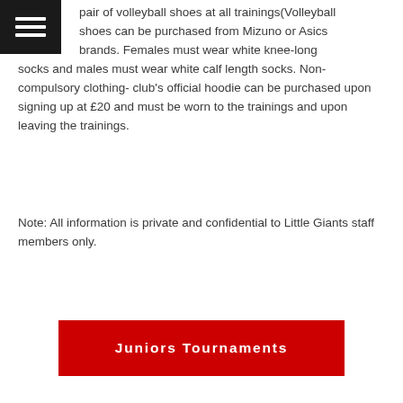pair of volleyball shoes at all trainings(Volleyball shoes can be purchased from Mizuno or Asics brands. Females must wear white knee-long socks and males must wear white calf length socks. Non-compulsory clothing- club's official hoodie can be purchased upon signing up at £20 and must be worn to the trainings and upon leaving the trainings.
Note: All information is private and confidential to Little Giants staff members only.
Juniors Tournaments